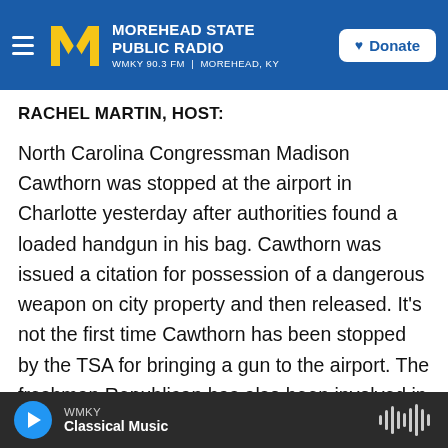Morehead State Public Radio — WMKY 90.3 FM | Morehead, KY — Donate
RACHEL MARTIN, HOST:
North Carolina Congressman Madison Cawthorn was stopped at the airport in Charlotte yesterday after authorities found a loaded handgun in his bag. Cawthorn was issued a citation for possession of a dangerous weapon on city property and then released. It's not the first time Cawthorn has been stopped by the TSA for bringing a gun to the airport. The freshman Republican has also been involved in several other public safety violations since taking office. Jeanne Davis of member station WFAE in Charlotte is following the story, and
WMKY — Classical Music